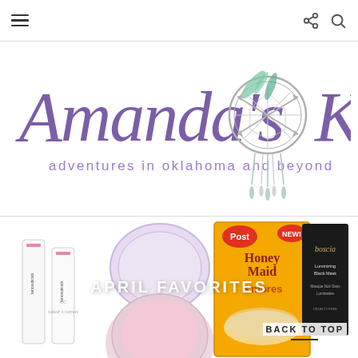Navigation bar with hamburger menu, share icon, and search icon
[Figure (logo): Amanda's OK blog logo — 'Amanda's' in large purple italic script, 'OK' in large purple serif, with a dream catcher illustration between the letters, and tagline 'adventures in oklahoma and beyond' in smaller purple text below]
[Figure (photo): Blog post thumbnail collage titled 'APRIL FAVORITES' showing beauty/skincare products (tanceuticals CC tubes, a round blush/powder compact), a Honey Maid S'mores cereal box, and a Boscia skincare tube against a white background]
BACK TO TOP